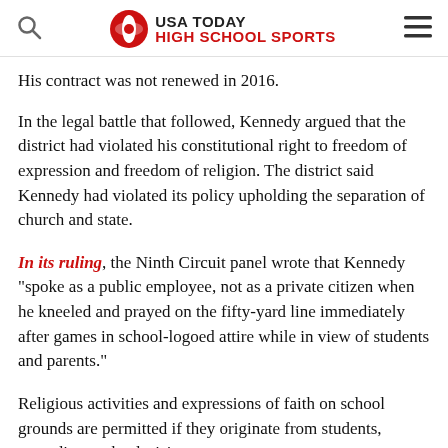USA TODAY HIGH SCHOOL SPORTS
His contract was not renewed in 2016.
In the legal battle that followed, Kennedy argued that the district had violated his constitutional right to freedom of expression and freedom of religion. The district said Kennedy had violated its policy upholding the separation of church and state.
In its ruling, the Ninth Circuit panel wrote that Kennedy “spoke as a public employee, not as a private citizen when he kneeled and prayed on the fifty-yard line immediately after games in school-logoed attire while in view of students and parents.”
Religious activities and expressions of faith on school grounds are permitted if they originate from students, according to the decision.
Judge Milan D. Smith Jr. wrote in the opinion that